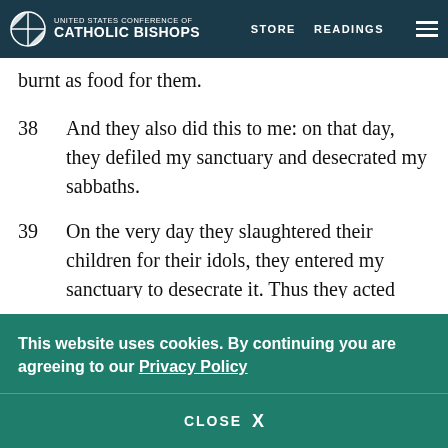UNITED STATES CONFERENCE OF CATHOLIC BISHOPS | STORE | READINGS
burnt as food for them.
38  And they also did this to me: on that day, they defiled my sanctuary and desecrated my sabbaths.
39  On the very day they slaughtered their children for their idols, they entered my sanctuary to desecrate it. Thus they acted within my house!q
40  Moreover, they sent for men who had to come from afar; when a messenger was sent to
This website uses cookies. By continuing you are agreeing to our Privacy Policy
CLOSE  X